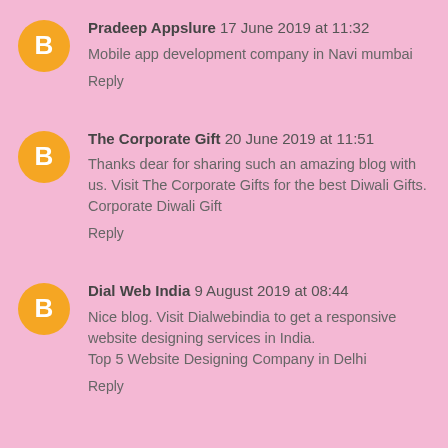Pradeep Appslure  17 June 2019 at 11:32
Mobile app development company in Navi mumbai
Reply
The Corporate Gift  20 June 2019 at 11:51
Thanks dear for sharing such an amazing blog with us. Visit The Corporate Gifts for the best Diwali Gifts.
Corporate Diwali Gift
Reply
Dial Web India  9 August 2019 at 08:44
Nice blog. Visit Dialwebindia to get a responsive website designing services in India.
Top 5 Website Designing Company in Delhi
Reply